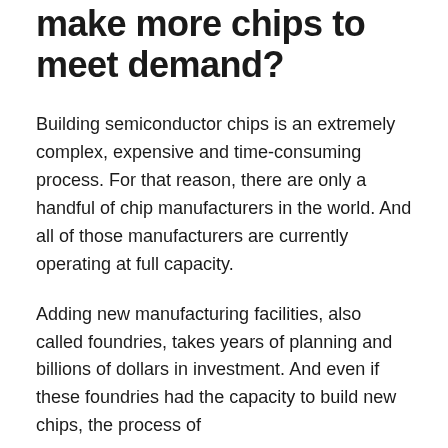make more chips to meet demand?
Building semiconductor chips is an extremely complex, expensive and time-consuming process. For that reason, there are only a handful of chip manufacturers in the world. And all of those manufacturers are currently operating at full capacity.
Adding new manufacturing facilities, also called foundries, takes years of planning and billions of dollars in investment. And even if these foundries had the capacity to build new chips, the process of